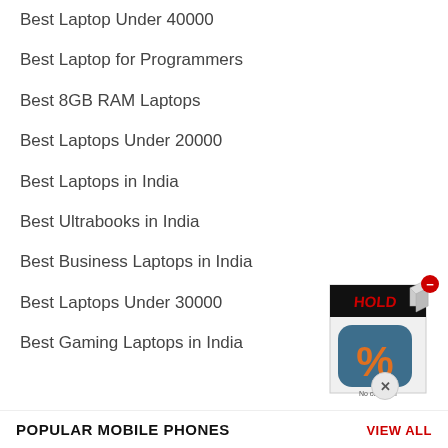Best Laptop Under 40000
Best Laptop for Programmers
Best 8GB RAM Laptops
Best Laptops Under 20000
Best Laptops in India
Best Ultrabooks in India
Best Business Laptops in India
Best Laptops Under 30000
Best Gaming Laptops in India
[Figure (photo): Advertisement box with a percentage symbol icon on a blue rounded square, with a red minus/close button at top right, sitting on a product box with 'No cost EMI' text. An X close button below.]
POPULAR MOBILE PHONES
VIEW ALL